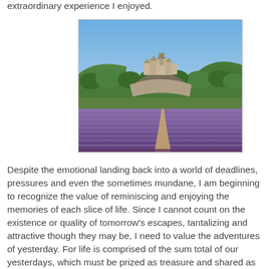extraordinary experience I enjoyed.
[Figure (photo): Photograph of a hilltop medieval village (resembling Provence, France) surrounded by green trees, with a large lavender field in the foreground under a clear blue sky. A dirt path runs through the center of the lavender rows toward the village.]
Despite the emotional landing back into a world of deadlines, pressures and even the sometimes mundane, I am beginning to recognize the value of reminiscing and enjoying the memories of each slice of life. Since I cannot count on the existence or quality of tomorrow's escapes, tantalizing and attractive though they may be, I need to value the adventures of yesterday. For life is comprised of the sum total of our yesterdays, which must be prized as treasure and shared as gifts.